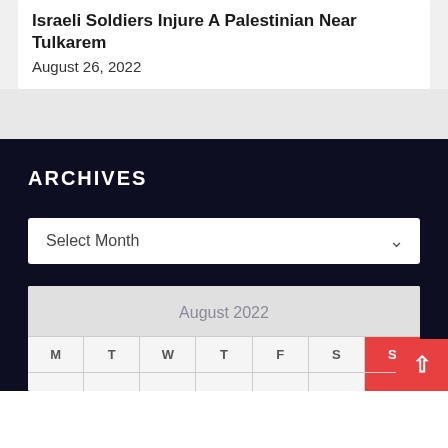Israeli Soldiers Injure A Palestinian Near Tulkarem
August 26, 2022
ARCHIVES
Select Month
| M | T | W | T | F | S | S |
| --- | --- | --- | --- | --- | --- | --- |